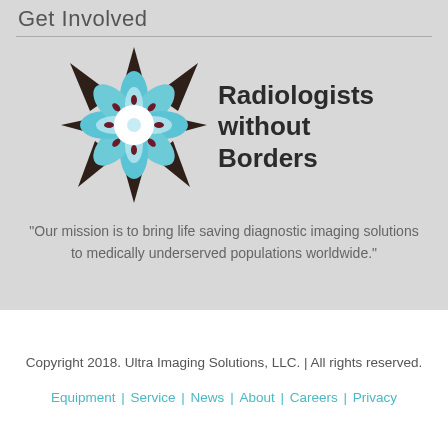Get Involved
[Figure (logo): Radiologists without Borders logo — a decorative mandala/flower shape with dark brown pointed outer petals and blue/white inner petals with small dark red droplets]
Radiologists without Borders
"Our mission is to bring life saving diagnostic imaging solutions to medically underserved populations worldwide."
Copyright 2018. Ultra Imaging Solutions, LLC. | All rights reserved.
Equipment | Service | News | About | Careers | Privacy